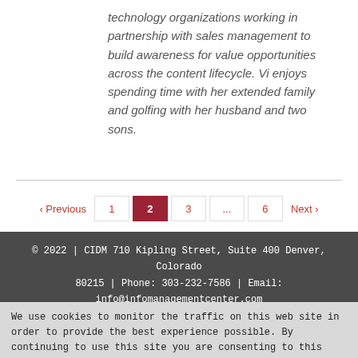technology organizations working in partnership with sales management to build awareness for value opportunities across the content lifecycle. Vi enjoys spending time with her extended family and golfing with her husband and two sons.
< Previous  1  2  3  ...  6  Next >
© 2022 | CIDM 710 Kipling Street, Suite 400 Denver, Colorado 80215 | Phone: 303-232-7586 | Email: info@infomanagementcenter.com
We use cookies to monitor the traffic on this web site in order to provide the best experience possible. By continuing to use this site you are consenting to this practice. | Close | Decline